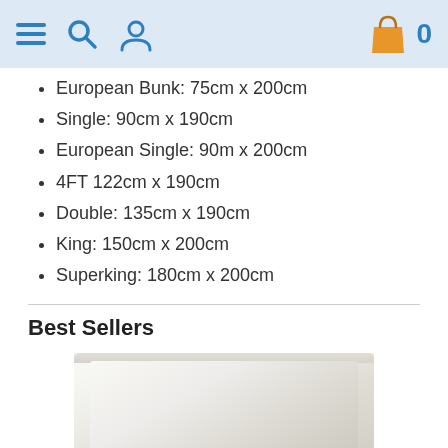Navigation bar with menu, search, account icons and shopping cart with 0 items
European Bunk: 75cm x 200cm
Single: 90cm x 190cm
European Single: 90m x 200cm
4FT 122cm x 190cm
Double: 135cm x 190cm
King: 150cm x 200cm
Superking: 180cm x 200cm
Best Sellers
[Figure (photo): Product photo of a white/cream fitted sheet or pillow on a bed]